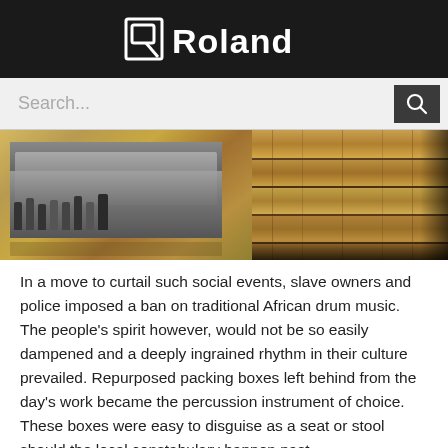Roland
[Figure (screenshot): Search bar with placeholder text 'Search...' and a dark search button with magnifying glass icon]
[Figure (photo): Two images side by side: left shows a vintage black-and-white photograph of African people in a row, mounted on aged paper/parchment background; right shows a close-up of weathered wooden packing crates or boxes with horizontal planks]
In a move to curtail such social events, slave owners and police imposed a ban on traditional African drum music. The people's spirit however, would not be so easily dampened and a deeply ingrained rhythm in their culture prevailed. Repurposed packing boxes left behind from the day's work became the percussion instrument of choice. These boxes were easy to disguise as a seat or stool should the local constabulary happen past.
Today, buskers on the street, as well as bands in venues of all